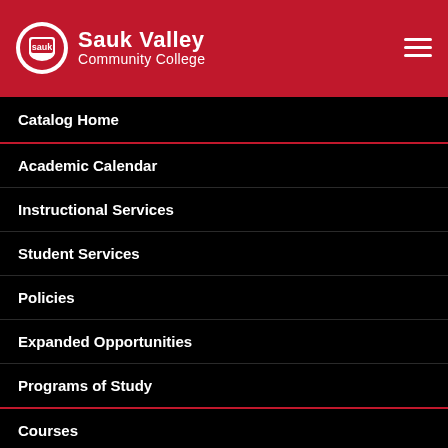[Figure (logo): Sauk Valley Community College logo with red circle and white Sauk text, school name in white on red background, hamburger menu icon top right]
Catalog Home
Academic Calendar
Instructional Services
Student Services
Policies
Expanded Opportunities
Programs of Study
Courses
Academic Programs
Updates and Clarifications to 2019-20 Catalog